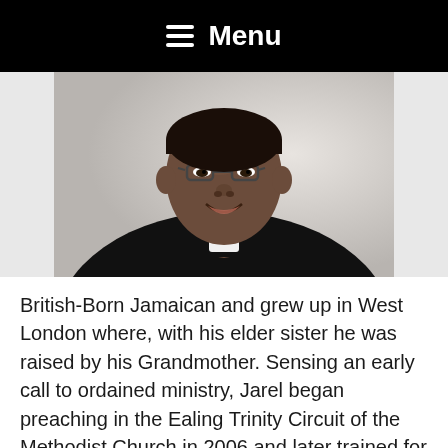☰ Menu
[Figure (photo): Portrait photograph of a smiling man wearing glasses and a black clerical shirt with white collar tab, indicating he is a Christian minister or priest.]
British-Born Jamaican and grew up in West London where, with his elder sister he was raised by his Grandmother. Sensing an early call to ordained ministry, Jarel began preaching in the Ealing Trinity Circuit of the Methodist Church in 2006 and later trained for ordination at Wesley House, Cambridge,